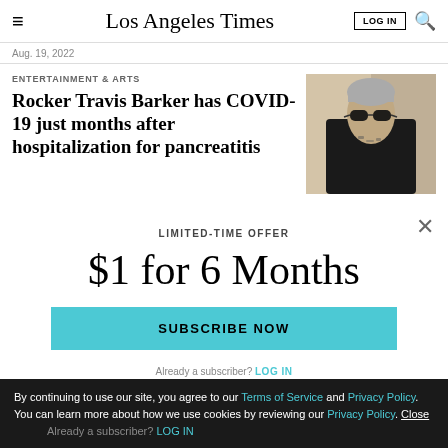Los Angeles Times — LOG IN [search]
Aug. 19, 2022
ENTERTAINMENT & ARTS
Rocker Travis Barker has COVID-19 just months after hospitalization for pancreatitis
[Figure (photo): Travis Barker wearing dark sunglasses and black turtleneck with visible tattoos on neck]
LIMITED-TIME OFFER
$1 for 6 Months
SUBSCRIBE NOW
Already a subscriber? LOG IN
By continuing to use our site, you agree to our Terms of Service and Privacy Policy. You can learn more about how we use cookies by reviewing our Privacy Policy. Close